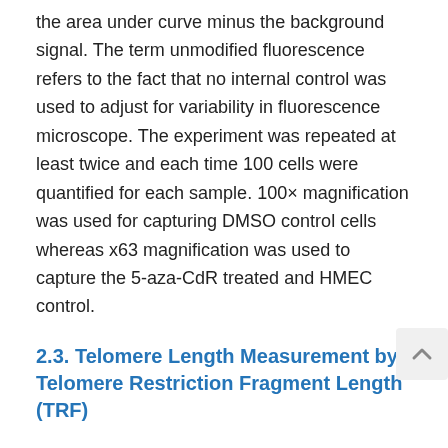the area under curve minus the background signal. The term unmodified fluorescence refers to the fact that no internal control was used to adjust for variability in fluorescence microscope. The experiment was repeated at least twice and each time 100 cells were quantified for each sample. 100× magnification was used for capturing DMSO control cells whereas x63 magnification was used to capture the 5-aza-CdR treated and HMEC control.
2.3. Telomere Length Measurement by Telomere Restriction Fragment Length (TRF)
Genomic DNA was extracted using the WizardTM Genomic DNA isolation Kit (Promega) according to the manufacturer's protocol. TRF length measurement was performed using the telomere length assay (Roche Diagnosis) and as previously described [17] . Approximately 3 μg of DNA was digested for 2 hours at 37°C using a mixture of restriction enzymes Hinf I and Rsa I (20 Units for each)